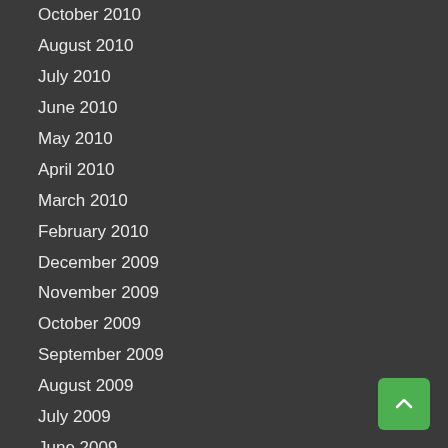October 2010
August 2010
July 2010
June 2010
May 2010
April 2010
March 2010
February 2010
December 2009
November 2009
October 2009
September 2009
August 2009
July 2009
June 2009